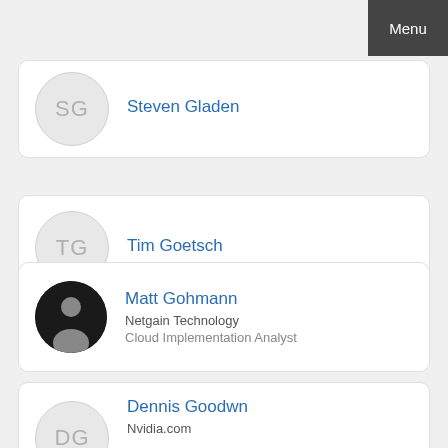Menu
Steven Gladen
Tim Goetsch
Matt Gohmann
Netgain Technology
Cloud Implementation Analyst
Dennis Goodwn
Nvidia.com